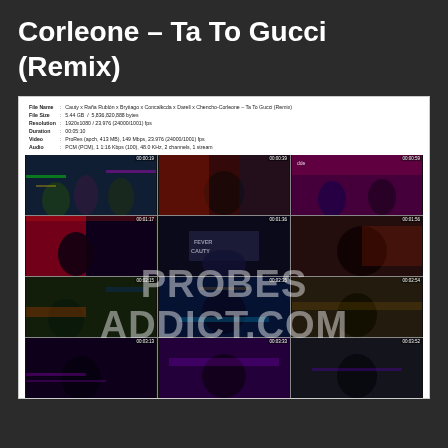Corleone – Ta To Gucci (Remix)
[Figure (screenshot): Video file information panel and 4x3 grid of video thumbnails from a music video 'Ta To Gucci (Remix)' with watermark text 'PROBES ADDICT.COM' overlaid. File info includes: File Name: Cauty x Raña Rublón x Brytiago x Concalkcda x Darell x Chencho-Corleone – Ta To Gucci (Remix), File Size: 5.44 GB / 5,836,820,888 bytes, Resolution: 1920x1080 / 23.976 (24000/1001) fps, Duration: 00:05:10, Video: ProRes (apch, 413 MB), 149 Mbps, 23.976 (24000/1001) fps, Audio: PCM (PCM), 1 1:16 Kbps (100), 48.0 KHz, 2 channels, 1 stream. Thumbnails show timestamps: 00:00:19, 00:00:39, 00:00:59, 00:01:17, 00:01:36, 00:01:56, 00:02:15, 00:02:35, 00:02:54, 00:03:13, 00:03:33, 00:03:52]